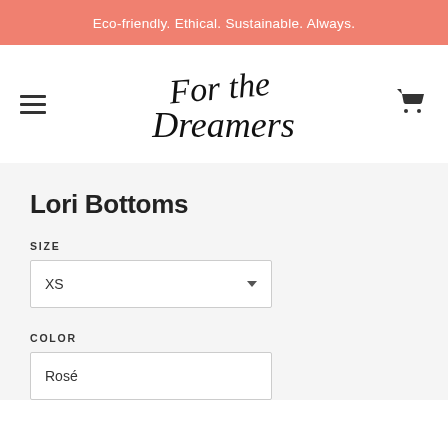Eco-friendly. Ethical. Sustainable. Always.
[Figure (logo): For the Dreamers cursive script logo in black on white background, with hamburger menu icon on left and shopping cart icon on right]
Lori Bottoms
SIZE
XS
COLOR
Rosé